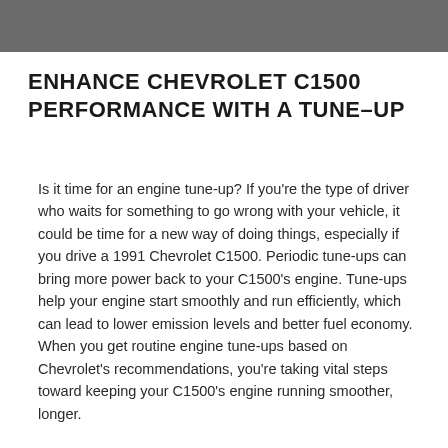[Figure (photo): Dark grey/charcoal textured header image strip at top of page]
ENHANCE CHEVROLET C1500 PERFORMANCE WITH A TUNE-UP
Is it time for an engine tune-up? If you're the type of driver who waits for something to go wrong with your vehicle, it could be time for a new way of doing things, especially if you drive a 1991 Chevrolet C1500. Periodic tune-ups can bring more power back to your C1500’s engine. Tune-ups help your engine start smoothly and run efficiently, which can lead to lower emission levels and better fuel economy. When you get routine engine tune-ups based on Chevrolet's recommendations, you’re taking vital steps toward keeping your C1500’s engine running smoother, longer.